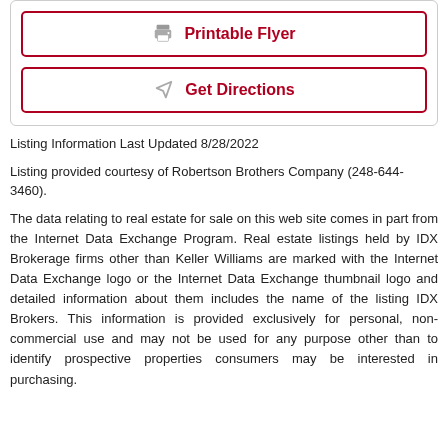[Figure (other): Box with two buttons: Printable Flyer (printer icon) and Get Directions (navigation arrow icon), outlined in dark red/maroon border]
Listing Information Last Updated 8/28/2022
Listing provided courtesy of Robertson Brothers Company (248-644-3460).
The data relating to real estate for sale on this web site comes in part from the Internet Data Exchange Program. Real estate listings held by IDX Brokerage firms other than Keller Williams are marked with the Internet Data Exchange logo or the Internet Data Exchange thumbnail logo and detailed information about them includes the name of the listing IDX Brokers. This information is provided exclusively for personal, non-commercial use and may not be used for any purpose other than to identify prospective properties consumers may be interested in purchasing.